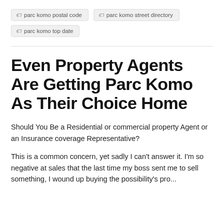parc komo postal code
parc komo street directory
parc komo top date
Even Property Agents Are Getting Parc Komo As Their Choice Home
Should You Be a Residential or commercial property Agent or an Insurance coverage Representative?
This is a common concern, yet sadly I can't answer it. I'm so negative at sales that the last time my boss sent me to sell something, I wound up buying the possibility's pro...